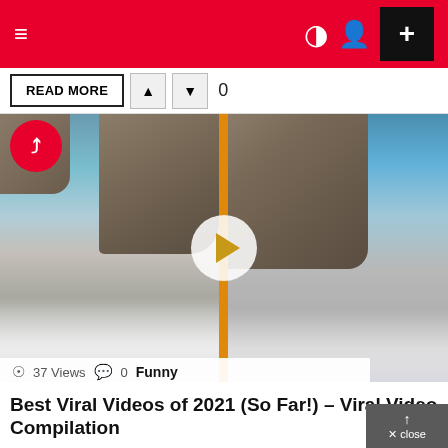≡  ) ⊙  +
READ MORE  ▲  ▼  0
[Figure (screenshot): Video thumbnail showing a woman at a beach with large rocks and waves. Two near-identical frames side by side separated by an orange vertical divider line. A white play button with an orange triangle is centered. A red Buzzfeed-style logo circle is in the top-left corner.]
👁 37 Views  💬 0  Funny
Best Viral Videos of 2021 (So Far!) – Viral Video Compilation
source These are some of the best viral videos we've seen so far in 2020. This compilation includes funny viral videos, viral animal videos, fail videos and awesome videos!What is your favorite video of the year?  Let us know in